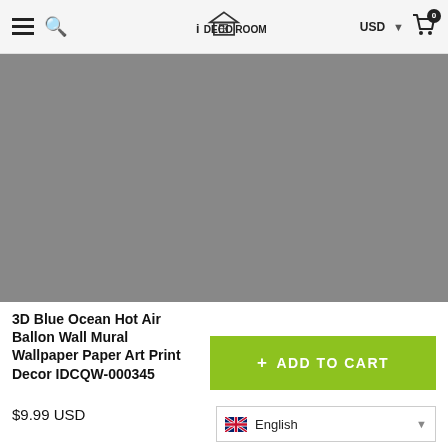iDECOROOM — USD — Cart (0)
[Figure (photo): Product image placeholder — gray rectangle representing a 3D Blue Ocean Hot Air Ballon Wall Mural Wallpaper]
3D Blue Ocean Hot Air Ballon Wall Mural Wallpaper Paper Art Print Decor IDCQW-000345
$9.99 USD
+ ADD TO CART
English